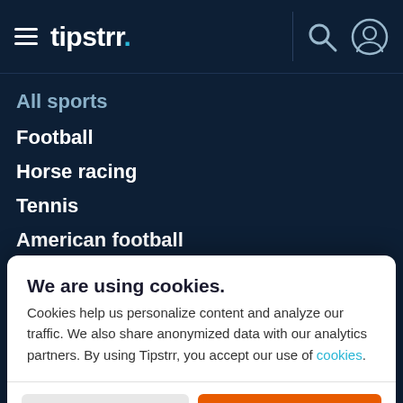tipstrr.
All sports
Football
Horse racing
Tennis
American football
We are using cookies.
Cookies help us personalize content and analyze our traffic. We also share anonymized data with our analytics partners. By using Tipstrr, you accept our use of cookies.
Manage | Accept
Handball